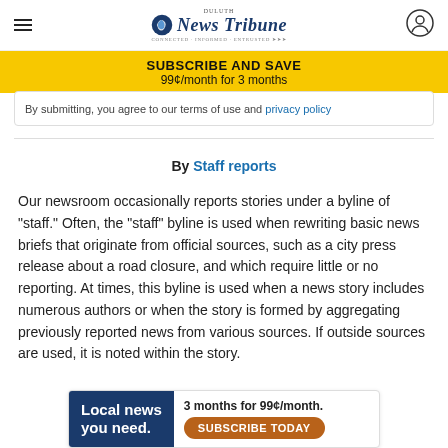Duluth News Tribune
SUBSCRIBE AND SAVE
99¢/month for 3 months
By submitting, you agree to our terms of use and privacy policy
By Staff reports
Our newsroom occasionally reports stories under a byline of "staff." Often, the "staff" byline is used when rewriting basic news briefs that originate from official sources, such as a city press release about a road closure, and which require little or no reporting. At times, this byline is used when a news story includes numerous authors or when the story is formed by aggregating previously reported news from various sources. If outside sources are used, it is noted within the story.
Local news you need. 3 months for 99¢/month. SUBSCRIBE TODAY